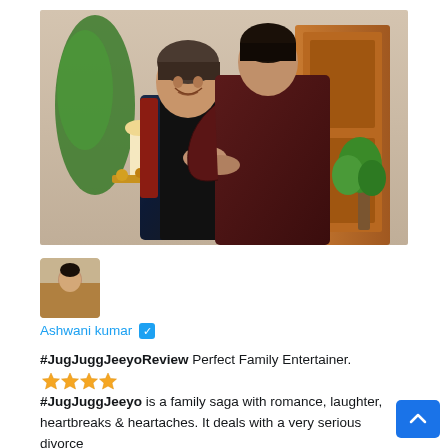[Figure (photo): Two men in an emotional embrace inside a home interior. The older man on the left wears a dark blue jacket, looking distressed. The younger man on the right in a dark maroon shirt hugs him from behind.]
[Figure (photo): Small avatar thumbnail showing a person, likely the reviewer Ashwani kumar.]
Ashwani kumar ✅
#JugJuggJeeyoReview Perfect Family Entertainer. ⭐⭐⭐⭐ #JugJuggJeeyo is a family saga with romance, laughter, heartbreaks & heartaches. It deals with a very serious divorce